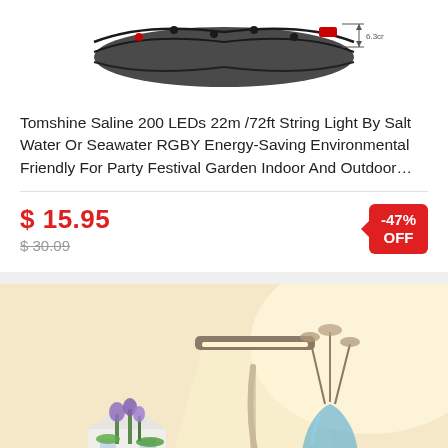[Figure (photo): Product image of Tomshine Saline LED string lights — a bundle of wire with small LED bulbs]
Tomshine Saline 200 LEDs 22m /72ft String Light By Salt Water Or Seawater RGBY Energy-Saving Environmental Friendly For Party Festival Garden Indoor And Outdoor…
$ 15.95
$ 30.09
-47% OFF
[Figure (photo): A modern desk lamp with a flexible neck illuminating a scene with purple flowers in a white house-shaped pot and a blue glass vase with dried plants]